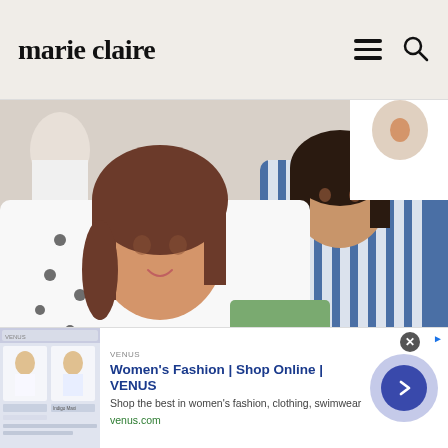marie claire
[Figure (photo): Two women sitting together at what appears to be Wimbledon. The woman on the left has long brown hair and is wearing a white dress with a dark pattern, smiling and leaning in to talk. The woman on the right has dark hair in an updo and is wearing a blue and white striped shirt, leaning in to listen.]
This Is The Bedtime Rule Meghan Markle Has To Follow When Staying With The...
It has been reported that Meghan Markle will have to
[Figure (other): Advertisement banner for VENUS women's fashion website. Shows a thumbnail image of a woman in white clothing, headline 'Women's Fashion | Shop Online | VENUS', subtext 'Shop the best in women's fashion, clothing, swimwear', URL 'venus.com', and a circular purple call-to-action button with a right arrow.]